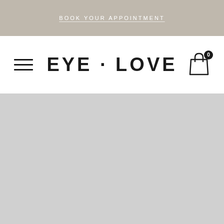BOOK YOUR APPOINTMENT
EYE · LOVE
[Figure (screenshot): Light gray content/loading area below the navigation bar]